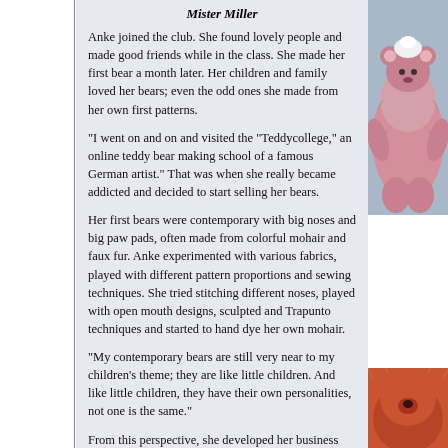Mister Miller
Anke joined the club. She found lovely people and made good friends while in the class. She made her first bear a month later. Her children and family loved her bears; even the odd ones she made from her own first patterns.
"I went on and on and visited the "Teddycollege," an online teddy bear making school of a famous German artist." That was when she really became addicted and decided to start selling her bears.
Her first bears were contemporary with big noses and big paw pads, often made from colorful mohair and faux fur. Anke experimented with various fabrics, played with different pattern proportions and sewing techniques. She tried stitching different noses, played with open mouth designs, sculpted and Trapunto techniques and started to hand dye her own mohair.
"My contemporary bears are still very near to my children's theme; they are like little children. And like little children, they have their own personalities, not one is the same."
From this perspective, she developed her business name 'Bearnalities by Anke Komorowski.' Since
[Figure (photo): Pink fluffy teddy bear photo on right side of page]
[Figure (photo): Red/orange bear paw or face photo at bottom right]